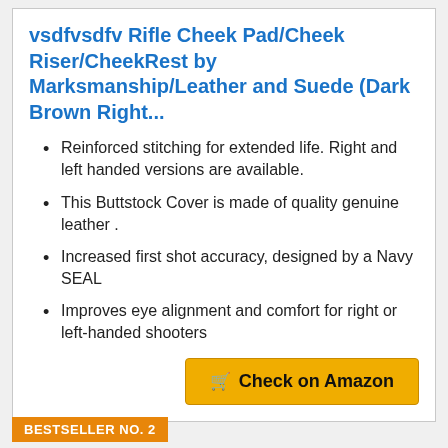vsdfvsdfv Rifle Cheek Pad/Cheek Riser/CheekRest by Marksmanship/Leather and Suede (Dark Brown Right...
Reinforced stitching for extended life. Right and left handed versions are available.
This Buttstock Cover is made of quality genuine leather .
Increased first shot accuracy, designed by a Navy SEAL
Improves eye alignment and comfort for right or left-handed shooters
Check on Amazon
BESTSELLER NO. 2